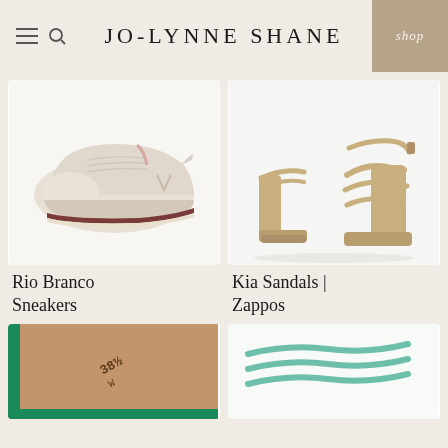JO-LYNNE SHANE
[Figure (photo): White and pink Veja Rio Branco sneakers on white background]
Rio Branco Sneakers
[Figure (photo): Gold metallic Kia strappy heeled sandals on white background]
Kia Sandals | Zappos
[Figure (photo): Close-up of green shoe insole with size marking]
[Figure (photo): Mint green laces or straps on white background]